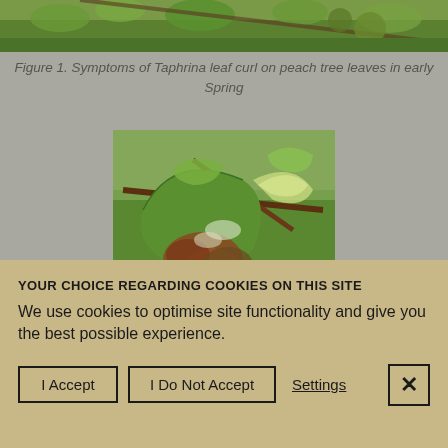[Figure (photo): Top portion of a photo showing peach tree branches with curled leaves against a green grass background, partially cropped]
Figure 1. Symptoms of Taphrina leaf curl on peach tree leaves in early Spring
[Figure (photo): Close-up photo of peach tree leaves showing Taphrina leaf curl disease symptoms — distorted, blistered, reddish-brown and green curled leaves on a branch with blurred green field background]
YOUR CHOICE REGARDING COOKIES ON THIS SITE
We use cookies to optimise site functionality and give you the best possible experience.
I Accept
I Do Not Accept
Settings